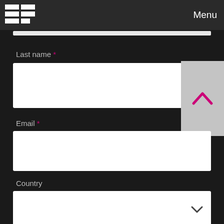[Figure (screenshot): Navigation bar with grid/table logo icon on left and 'Menu' text on right, dark gray background]
Last name *
[Figure (screenshot): Text input field for last name, white rectangle]
[Figure (screenshot): Scroll up button, gray square with pink chevron up arrow]
Email *
[Figure (screenshot): Text input field for email, white rectangle]
Country
[Figure (screenshot): Dropdown select field for country with chevron down arrow]
Sign Up